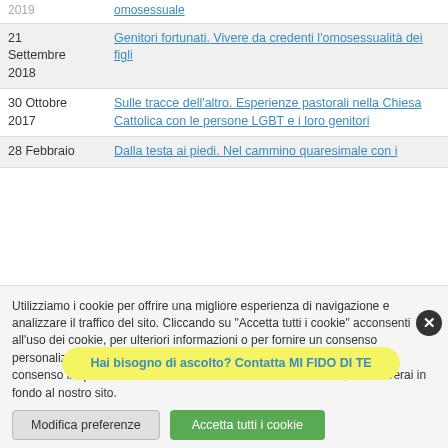2019 | omosessuale
21 Settembre 2018 | Genitori fortunati. Vivere da credenti l'omosessualità dei figli
30 Ottobre 2017 | Sulle tracce dell'altro. Esperienze pastorali nella Chiesa Cattolica con le persone LGBT e i loro genitori
28 Febbraio | Dalla testa ai piedi. Nel cammino quaresimale con i
Utilizziamo i cookie per offrire una migliore esperienza di navigazione e analizzare il traffico del sito. Cliccando su "Accetta tutti i cookie" acconsenti all'uso dei cookie, per ulteriori informazioni o per fornire un consenso personalizzato clicca "Modifica preferenze". È possibile revocare il tuo consenso in qualsiasi momento in "Modifica consenso Cookie", che troverai in fondo al nostro sito.
Hai bisogno di ascolto? Contatta MI FIDO DI TE